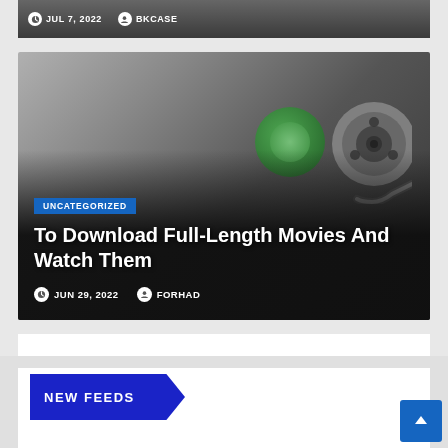JUL 7, 2022  BKCASE
[Figure (screenshot): Article card with dark gradient background showing film/movie related imagery. Blue badge says UNCATEGORIZED. Title reads 'To Download Full-Length Movies And Watch Them'. Meta shows JUN 29, 2022 and FORHAD.]
To Download Full-Length Movies And Watch Them
JUN 29, 2022  FORHAD
NEW FEEDS